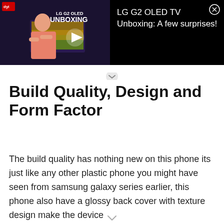[Figure (screenshot): Video thumbnail ad for 'LG G2 OLED TV Unboxing: A few surprises!' showing a man in pink shirt in front of an LG G2 OLED TV with unboxing text overlay and play button. Black background with close button.]
Build Quality, Design and Form Factor
The build quality has nothing new on this phone its just like any other plastic phone you might have seen from samsung galaxy series earlier, this phone also have a glossy back cover with texture design make the device